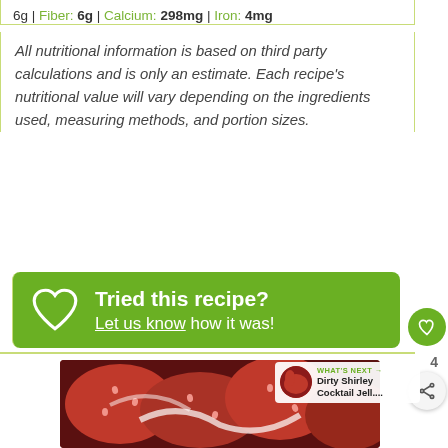6g | Fiber: 6g | Calcium: 298mg | Iron: 4mg
All nutritional information is based on third party calculations and is only an estimate. Each recipe's nutritional value will vary depending on the ingredients used, measuring methods, and portion sizes.
Tried this recipe? Let us know how it was!
[Figure (photo): Close-up photo of strawberries with cream]
WHAT'S NEXT → Dirty Shirley Cocktail Jell....